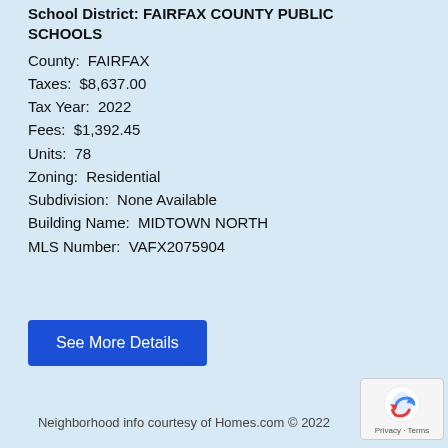School District: FAIRFAX COUNTY PUBLIC SCHOOLS
County: FAIRFAX
Taxes: $8,637.00
Tax Year: 2022
Fees: $1,392.45
Units: 78
Zoning: Residential
Subdivision: None Available
Building Name: MIDTOWN NORTH
MLS Number: VAFX2075904
See More Details
Neighborhood info courtesy of Homes.com © 2022